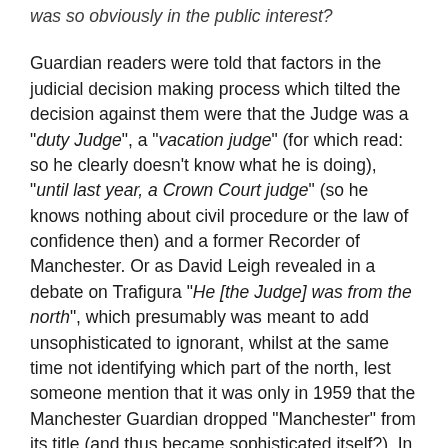was so obviously in the public interest?
Guardian readers were told that factors in the judicial decision making process which tilted the decision against them were that the Judge was a "duty Judge", a "vacation judge" (for which read: so he clearly doesn't know what he is doing), "until last year, a Crown Court judge" (so he knows nothing about civil procedure or the law of confidence then) and a former Recorder of Manchester. Or as David Leigh revealed in a debate on Trafigura "He [the Judge] was from the north", which presumably was meant to add unsophisticated to ignorant, whilst at the same time not identifying which part of the north, lest someone mention that it was only in 1959 that the Manchester Guardian dropped "Manchester" from its title (and thus became sophisticated itself?). In case you are wondering, it seems a Judge only earns the sobriquet "unelected" if he grants an injunction involving a tabloid newspaper.